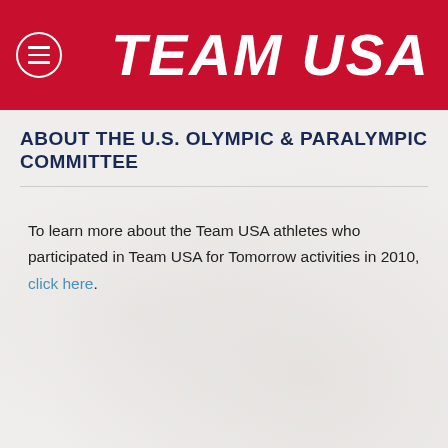TEAM USA
ABOUT THE U.S. OLYMPIC & PARALYMPIC COMMITTEE
To learn more about the Team USA athletes who participated in Team USA for Tomorrow activities in 2010, click here.